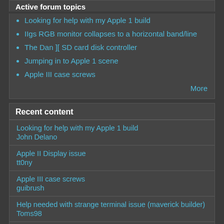Active forum topics
Looking for help with my Apple 1 build
IIgs RGB monitor collapses to a horizontal band/line
The Dan ][ SD card disk controller
Jumping in to Apple 1 scene
Apple III case screws
More
Recent content
Looking for help with my Apple 1 build
John Delano
Apple II Display issue
tt0ny
Apple III case screws
guibrush
Help needed with strange terminal issue (maverick builder)
Toms98
Using a Commodore 1084-D monitor w/ an Apple IIGS